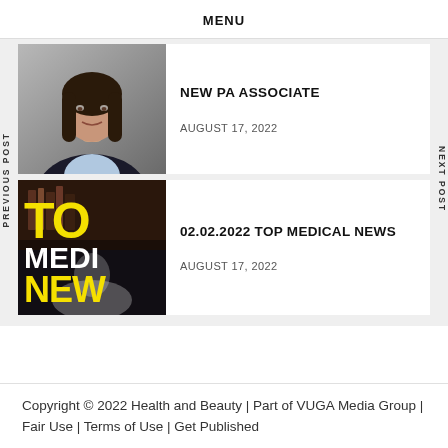MENU
NEW PA ASSOCIATE
AUGUST 17, 2022
[Figure (photo): Professional headshot of a woman in a dark blazer with light blue shirt, smiling, with long dark hair]
02.02.2022 TOP MEDICAL NEWS
AUGUST 17, 2022
[Figure (photo): Dark background image with bold yellow text reading 'TO', white text 'MEDI', and yellow text 'NEW' overlaid, with a person in white coat visible]
Copyright © 2022 Health and Beauty | Part of VUGA Media Group | Fair Use | Terms of Use | Get Published